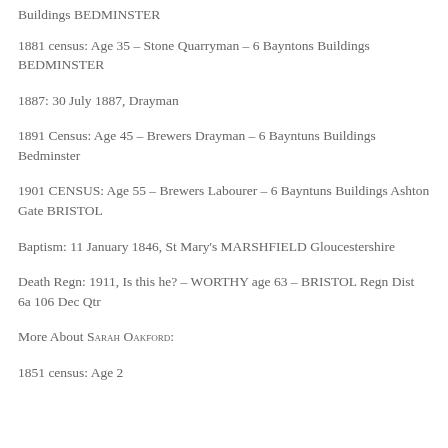Buildings BEDMINSTER
1881 census: Age 35 – Stone Quarryman – 6 Bayntons Buildings BEDMINSTER
1887: 30 July 1887, Drayman
1891 Census: Age 45 – Brewers Drayman – 6 Bayntuns Buildings Bedminster
1901 CENSUS: Age 55 – Brewers Labourer – 6 Bayntuns Buildings Ashton Gate BRISTOL
Baptism: 11 January 1846, St Mary's MARSHFIELD Gloucestershire
Death Regn: 1911, Is this he? – WORTHY age 63 – BRISTOL Regn Dist 6a 106 Dec Qtr
More About Sarah Oakford:
1851 census: Age 2